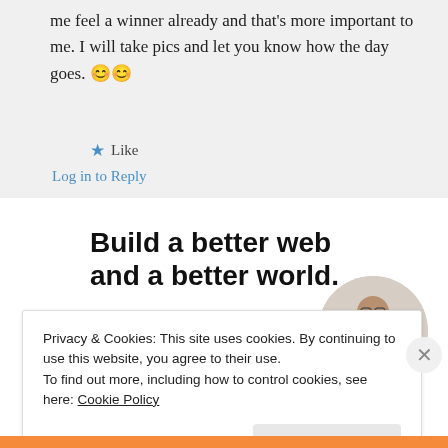me feel a winner already and that's more important to me. I will take pics and let you know how the day goes. 😊😊
★ Like
Log in to Reply
Build a better web and a better world.
[Figure (illustration): Apply button with blue background labeled 'Apply', and a circular avatar photo of a person thinking.]
Privacy & Cookies: This site uses cookies. By continuing to use this website, you agree to their use.
To find out more, including how to control cookies, see here: Cookie Policy
Close and accept